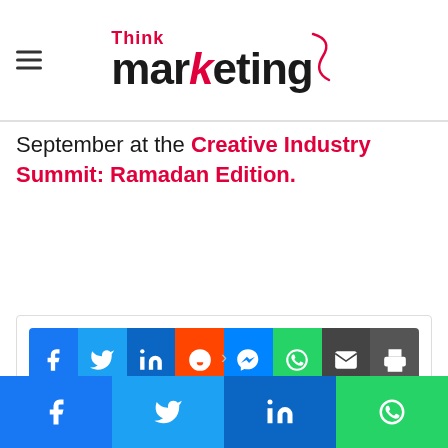Think marketing - navigation header with logo
September at the Creative Industry Summit: Ramadan Edition.
[Figure (other): Social share buttons row: Facebook, Twitter, LinkedIn, Reddit, Messenger, WhatsApp, Email, Print]
[Figure (other): Sticky bottom share bar: Facebook, Twitter, LinkedIn, WhatsApp]